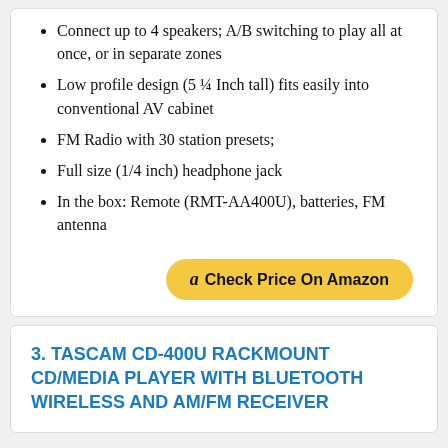Connect up to 4 speakers; A/B switching to play all at once, or in separate zones
Low profile design (5 ¼ Inch tall) fits easily into conventional AV cabinet
FM Radio with 30 station presets;
Full size (1/4 inch) headphone jack
In the box: Remote (RMT-AA400U), batteries, FM antenna
Check Price On Amazon
3. TASCAM CD-400U RACKMOUNT CD/MEDIA PLAYER WITH BLUETOOTH WIRELESS AND AM/FM RECEIVER